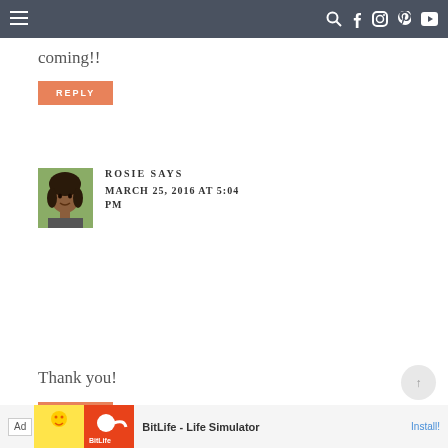Navigation bar with menu and social icons
coming!!
REPLY
[Figure (photo): Avatar photo of Rosie, a woman with curly hair]
ROSIE SAYS
MARCH 25, 2016 AT 5:04 PM
Thank you!
REPLY
Ad | BitLife - Life Simulator | Install!